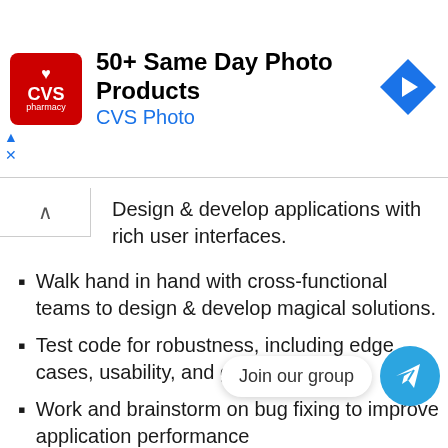[Figure (other): CVS Pharmacy advertisement banner with logo, text '50+ Same Day Photo Products / CVS Photo', and a blue navigation arrow icon]
Design & develop applications with rich user interfaces.
Walk hand in hand with cross-functional teams to design & develop magical solutions.
Test code for robustness, including edge cases, usability, and general reliability
Work and brainstorm on bug fixing to improve application performance
Be involved in the exciting process of discovering, evaluating, and implementing new technologies.
Service Agreement: We have a Service Agreement of 1.5 years.
[Figure (other): Telegram 'Join our group' button overlay with blue Telegram icon]